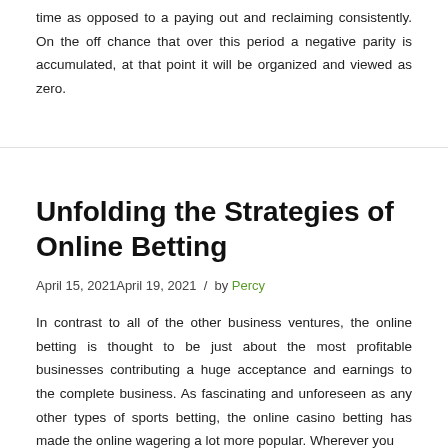time as opposed to a paying out and reclaiming consistently. On the off chance that over this period a negative parity is accumulated, at that point it will be organized and viewed as zero.
Unfolding the Strategies of Online Betting
April 15, 2021April 19, 2021 / by Percy
In contrast to all of the other business ventures, the online betting is thought to be just about the most profitable businesses contributing a huge acceptance and earnings to the complete business. As fascinating and unforeseen as any other types of sports betting, the online casino betting has made the online wagering a lot more popular. Wherever you